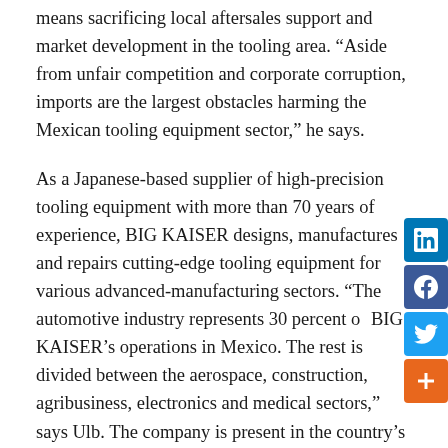means sacrificing local aftersales support and market development in the tooling area. “Aside from unfair competition and corporate corruption, imports are the largest obstacles harming the Mexican tooling equipment sector,” he says.
As a Japanese-based supplier of high-precision tooling equipment with more than 70 years of experience, BIG KAISER designs, manufactures and repairs cutting-edge tooling equipment for various advanced-manufacturing sectors. “The automotive industry represents 30 percent of BIG KAISER’s operations in Mexico. The rest is divided between the aerospace, construction, agribusiness, electronics and medical sectors,” says Ulb. The company is present in the country’s main automotive hubs, such as Nuevo Leon, Coahuila, the Bajio region and central Mexico, where SMEs account for 60 percent of its client portfolio.
According to Ulb, the company’s main objective is solving its